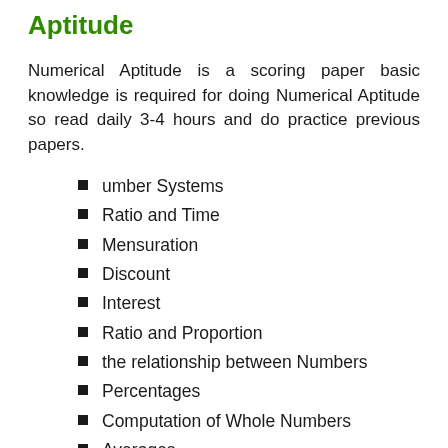Aptitude
Numerical Aptitude is a scoring paper basic knowledge is required for doing Numerical Aptitude so read daily 3-4 hours and do practice previous papers.
umber Systems
Ratio and Time
Mensuration
Discount
Interest
Ratio and Proportion
the relationship between Numbers
Percentages
Computation of Whole Numbers
Averages